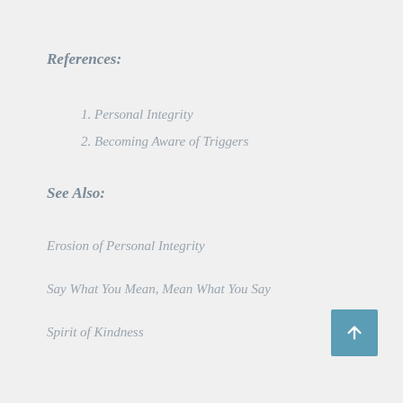References:
1. Personal Integrity
2. Becoming Aware of Triggers
See Also:
Erosion of Personal Integrity
Say What You Mean, Mean What You Say
Spirit of Kindness